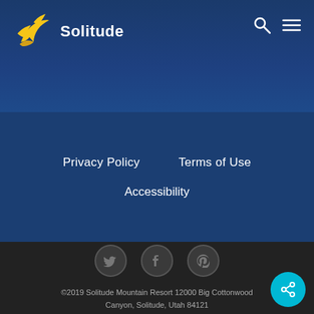[Figure (logo): Solitude Mountain Resort logo: yellow bird/eagle with white text 'Solitude']
Privacy Policy   Terms of Use   Accessibility
Privacy Policy
Terms of Use
Accessibility
[Figure (infographic): Social media icons: Twitter, Facebook, Pinterest in dark circles]
©2019 Solitude Mountain Resort 12000 Big Cottonwood Canyon, Solitude, Utah 84121